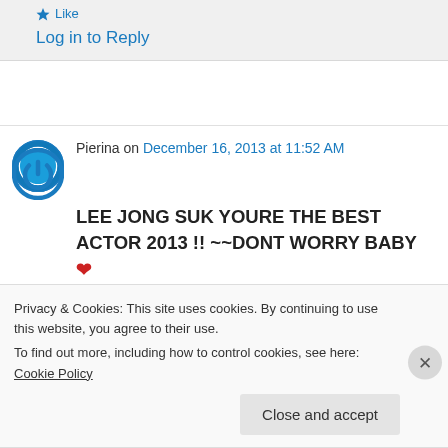Like
Log in to Reply
Pierina on December 16, 2013 at 11:52 AM
LEE JONG SUK YOURE THE BEST ACTOR 2013 !! ~~DONT WORRY BABY ❤
Privacy & Cookies: This site uses cookies. By continuing to use this website, you agree to their use.
To find out more, including how to control cookies, see here: Cookie Policy
Close and accept